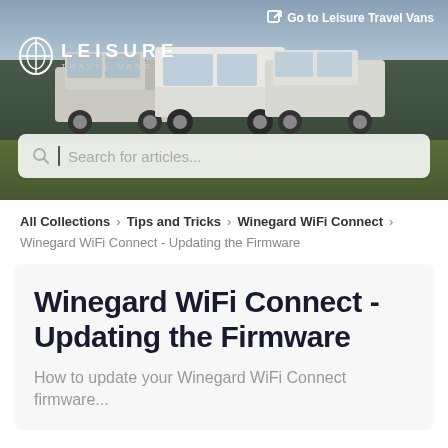[Figure (photo): Hero banner with Leisure Travel Vans logo, white vans/RVs on a grassy field with cloudy sky background, and a search bar overlay. Top right shows 'Go to Leisure Travel Vans' link.]
All Collections > Tips and Tricks > Winegard WiFi Connect >
Winegard WiFi Connect - Updating the Firmware
Winegard WiFi Connect - Updating the Firmware
How to update your Winegard WiFi Connect firmware...